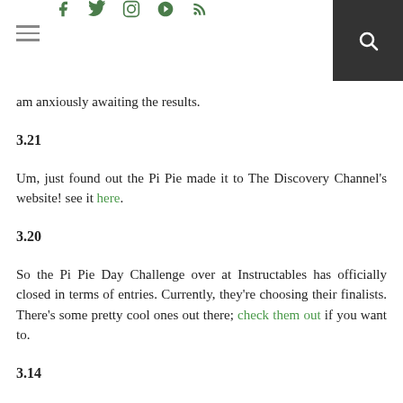≡  f  🐦  📷  ℗  )))  🔍
am anxiously awaiting the results.
3.21
Um, just found out the Pi Pie made it to The Discovery Channel's website! see it here.
3.20
So the Pi Pie Day Challenge over at Instructables has officially closed in terms of entries. Currently, they're choosing their finalists. There's some pretty cool ones out there; check them out if you want to.
3.14